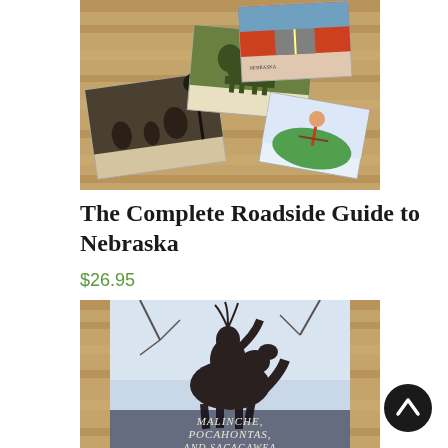[Figure (photo): Book cover of 'The Complete Roadside Guide to Nebraska' showing vintage postcards and photographs on a wooden surface]
The Complete Roadside Guide to Nebraska
$26.95
Read More
[Figure (photo): Book cover showing a dark bronze statue with text 'Malinche, Pocahontas, and Sacagawea' visible at the bottom]
[Figure (other): Scroll to top button - dark circle with upward arrow]